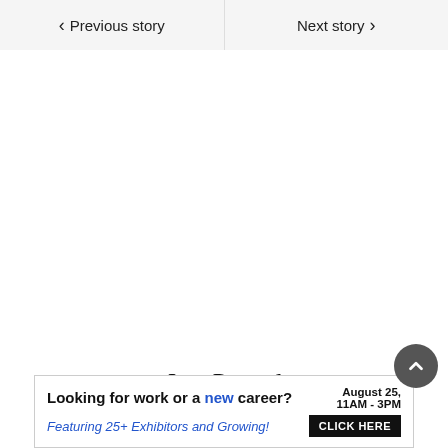< Previous story   Next story >
Just Posted
[Figure (other): Advertisement banner: Looking for work or a new career? August 25, 11AM - 3PM. Featuring 25+ Exhibitors and Growing! CLICK HERE]